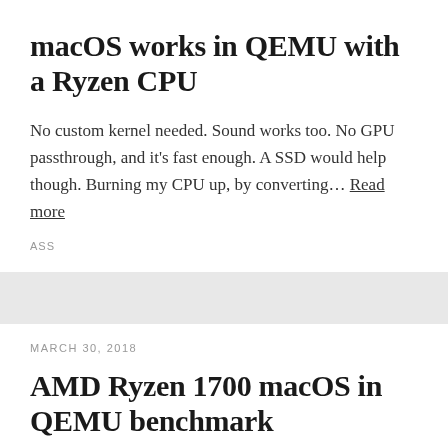macOS works in QEMU with a Ryzen CPU
No custom kernel needed. Sound works too. No GPU passthrough, and it's fast enough. A SSD would help though. Burning my CPU up, by converting… Read more
ASS
MARCH 30, 2018
AMD Ryzen 1700 macOS in QEMU benchmark
Here you go. Not a bad score. And that's only four